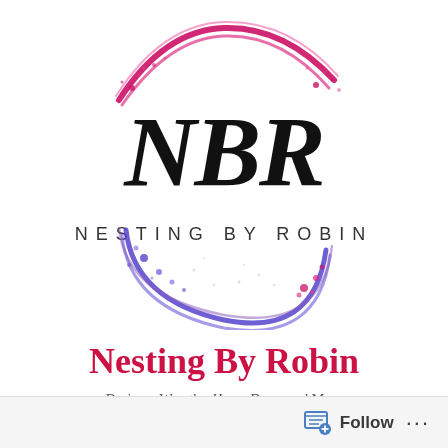[Figure (logo): NBR Nesting By Robin circular logo with script NBR lettering in black, encircled by brushstroke arcs in pink/magenta at top and purple/blue at bottom, with decorative dots and splatter marks]
Nesting By Robin
Designer Wreaths, Home Decor and More
Follow ...